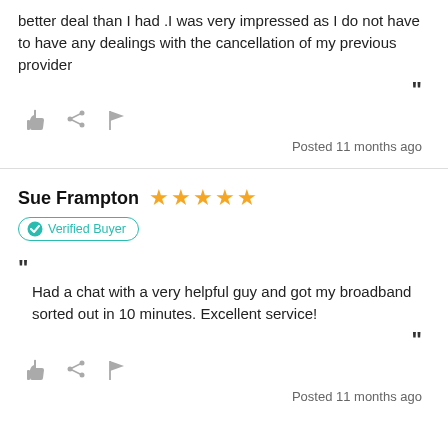better deal than I had .I was very impressed as I do not have to have any dealings with the cancellation of my previous provider
Posted 11 months ago
Sue Frampton ★★★★★
Verified Buyer
Had a chat with a very helpful guy and got my broadband sorted out in 10 minutes. Excellent service!
Posted 11 months ago